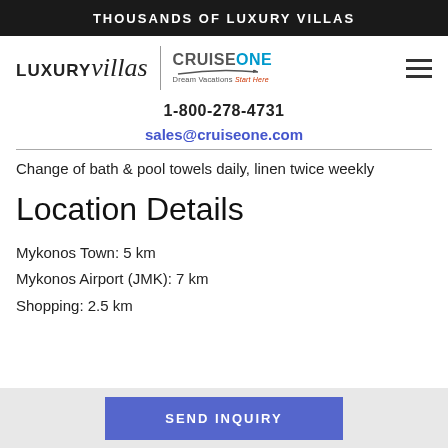THOUSANDS OF LUXURY VILLAS
[Figure (logo): LUXURYvillas | CruiseOne Dream Vacations Start Here logo with hamburger menu icon]
1-800-278-4731
sales@cruiseone.com
Change of bath & pool towels daily, linen twice weekly
Location Details
Mykonos Town: 5 km
Mykonos Airport (JMK): 7 km
Shopping: 2.5 km
SEND INQUIRY